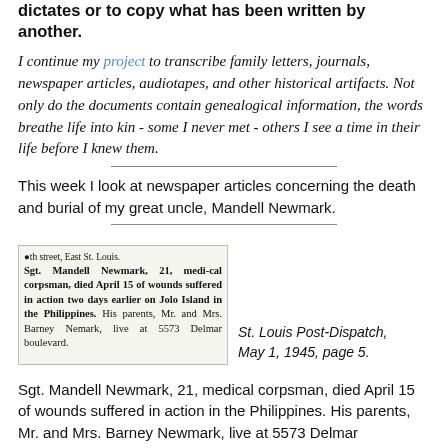dictates or to copy what has been written by another.
I continue my project to transcribe family letters, journals, newspaper articles, audiotapes, and other historical artifacts. Not only do the documents contain genealogical information, the words breathe life into kin - some I never met - others I see a time in their life before I knew them.
This week I look at newspaper articles concerning the death and burial of my great uncle, Mandell Newmark.
[Figure (photo): Newspaper clipping from St. Louis Post-Dispatch showing an article about Sgt. Mandell Newmark, 21, medical corpsman, died April 15 of wounds suffered in action two days earlier on Jolo Island in the Philippines. His parents, Mr. and Mrs. Barney Nemark, live at 5573 Delmar boulevard.]
St. Louis Post-Dispatch, May 1, 1945, page 5.
Sgt. Mandell Newmark, 21, medical corpsman, died April 15 of wounds suffered in action in the Philippines. His parents, Mr. and Mrs. Barney Newmark, live at 5573 Delmar